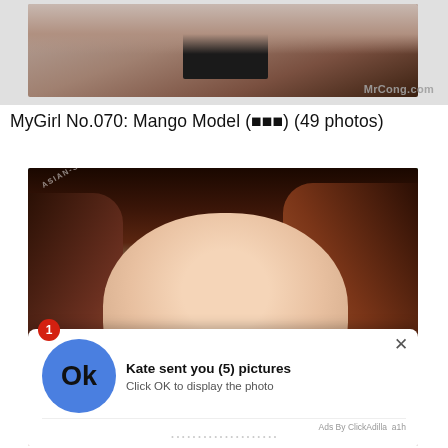[Figure (photo): Top partial photo with watermark 'MrCong.com', showing cropped image with dark furniture element]
MyGirl No.070: Mango Model (芒 果) (49 photos)
[Figure (photo): Selfie-style photo of an Asian woman with reddish-brown hair taken outdoors with trees in background, overlaid by an ad popup. Watermark 'ASIAN-SCANDAL.NET' visible. Ad overlay: notification badge '1', blue circle with 'Ok' text, 'Kate sent you (5) pictures', 'Click OK to display the photo', 'Ads By ClickAdilla a1h']